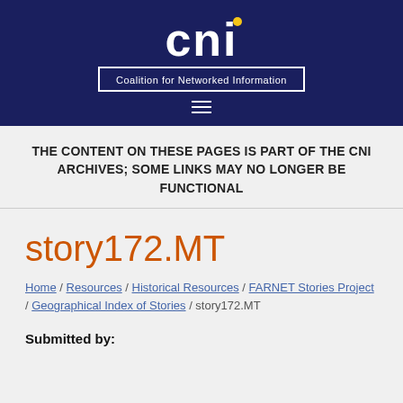[Figure (logo): CNI - Coalition for Networked Information logo with white bold text on dark navy background, with yellow dot above the i, and subtitle in white box border]
THE CONTENT ON THESE PAGES IS PART OF THE CNI ARCHIVES; SOME LINKS MAY NO LONGER BE FUNCTIONAL
story172.MT
Home / Resources / Historical Resources / FARNET Stories Project / Geographical Index of Stories / story172.MT
Submitted by: